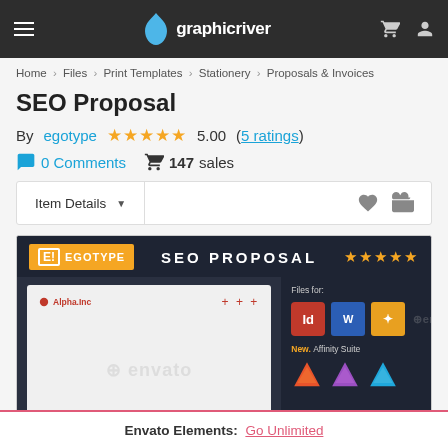graphicriver
Home > Files > Print Templates > Stationery > Proposals & Invoices
SEO Proposal
By egotype  ★★★★★ 5.00 (5 ratings)
0 Comments  147 sales
Item Details
[Figure (screenshot): SEO Proposal product preview image showing the template with Egotype branding, software compatibility icons (InDesign, Word, Affinity Suite), and a document preview with envato watermark]
Envato Elements: Go Unlimited